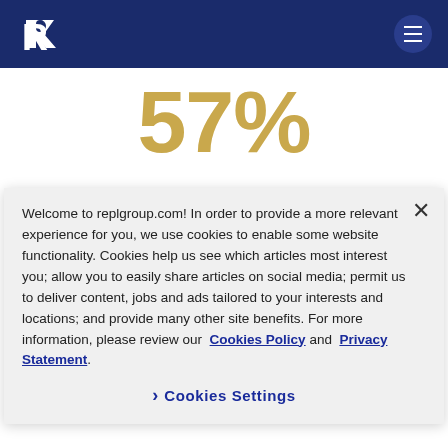replgroup.com header with logo and menu button
57%
feel they can be themselves at work
Welcome to replgroup.com! In order to provide a more relevant experience for you, we use cookies to enable some website functionality. Cookies help us see which articles most interest you; allow you to easily share articles on social media; permit us to deliver content, jobs and ads tailored to your interests and locations; and provide many other site benefits. For more information, please review our Cookies Policy and Privacy Statement.
Cookies Settings